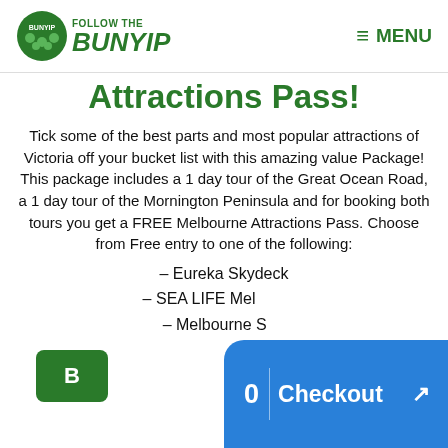BUNYIP FOLLOW THE BUNYIP | MENU
Attractions Pass!
Tick some of the best parts and most popular attractions of Victoria off your bucket list with this amazing value Package! This package includes a 1 day tour of the Great Ocean Road, a 1 day tour of the Mornington Peninsula and for booking both tours you get a FREE Melbourne Attractions Pass. Choose from Free entry to one of the following:
– Eureka Skydeck
– SEA LIFE Melbourne
– Melbourne Star